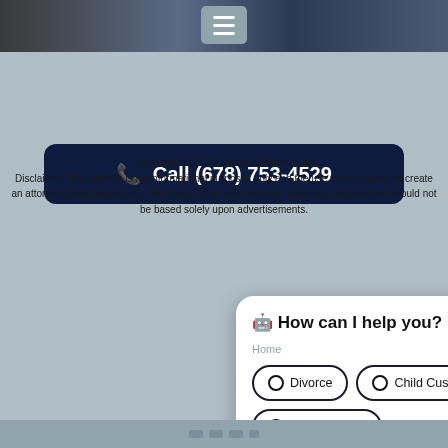[Figure (screenshot): Top image strip showing dark background with hamburger menu icon]
📞 Call (678) 753-4529
Copyright © 2022 Lankford & Moore Law
Disclaimer: This website is for informational purposes only and the use thereof does not create an attorney-client relationship. The choice of an attorney is an important decision and should not be based solely upon advertisements.
[Figure (screenshot): Green phone call button icon]
[Figure (screenshot): Chat popup widget with 'How can I help you?' and options: Divorce, Child Custody, Child Support, Restraining Order]